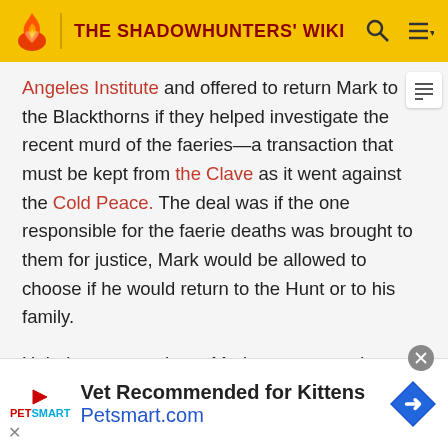THE SHADOWHUNTERS' WIKI
Angeles Institute and offered to return Mark to the Blackthorns if they helped investigate the recent murders of the faeries—a transaction that must be kept from the Clave as it went against the Cold Peace. The deal was if the one responsible for the faerie deaths was brought to them for justice, Mark would be allowed to choose if he would return to the Hunt or to his family.
Unbeknownst to them, Mark was returned knowing his presence would ensure that the deal would not reach the Clave, and thus the children would be unable to call them for help and the Guardian's plans would proceed.
[Figure (other): PetSmart advertisement banner: Vet Recommended for Kittens, Petsmart.com]